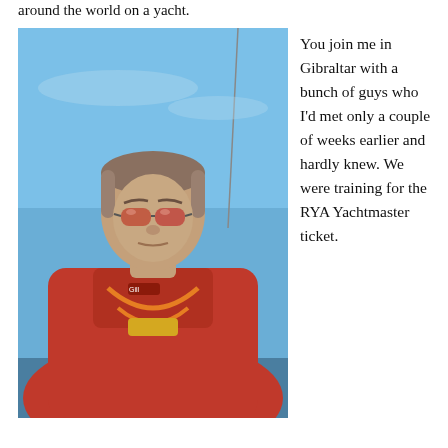around the world on a yacht.
[Figure (photo): A man in a red Gill sailing jacket with sunglasses sits on a yacht deck. Blue sky and a mast visible in the background.]
You join me in Gibraltar with a bunch of guys who I'd met only a couple of weeks earlier and hardly knew. We were training for the RYA Yachtmaster ticket.